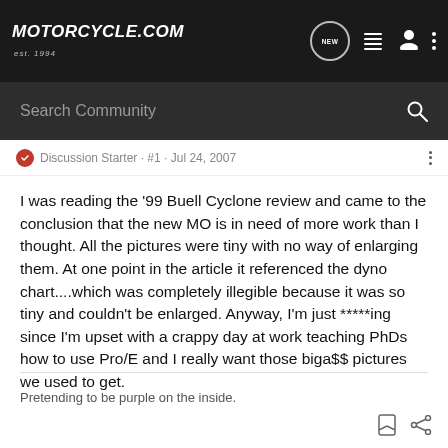MOTORCYCLE.COM est.1994
Search Community
Discussion Starter · #1 · Jul 24, 2007
I was reading the '99 Buell Cyclone review and came to the conclusion that the new MO is in need of more work than I thought. All the pictures were tiny with no way of enlarging them. At one point in the article it referenced the dyno chart....which was completely illegible because it was so tiny and couldn't be enlarged. Anyway, I'm just *****ing since I'm upset with a crappy day at work teaching PhDs how to use Pro/E and I really want those biga$$ pictures we used to get.
Pretending to be purple on the inside.